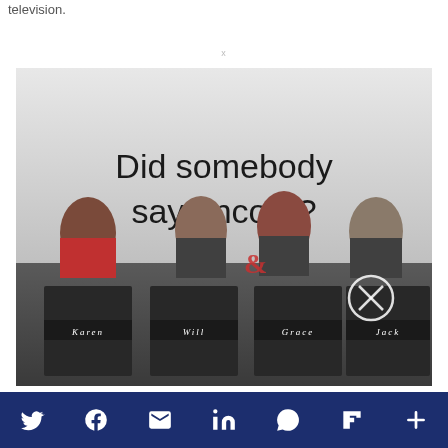television.
[Figure (photo): Will & Grace TV show promotional image showing four cast members seated in director's chairs labeled Karen, Will, Grace, and Jack, with text 'Did somebody say encore?' above them. A close button (X in circle) overlays the lower right portion.]
Social sharing bar with icons: Twitter, Facebook, Email, LinkedIn, WhatsApp, Flipboard, More